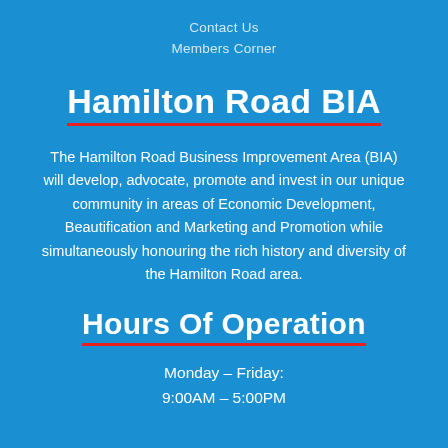Contact Us
Members Corner
Hamilton Road BIA
The Hamilton Road Business Improvement Area (BIA) will develop, advocate, promote and invest in our unique community in areas of Economic Development, Beautification and Marketing and Promotion while simultaneously honouring the rich history and diversity of the Hamilton Road area.
Hours Of Operation
Monday – Friday:
9:00AM – 5:00PM